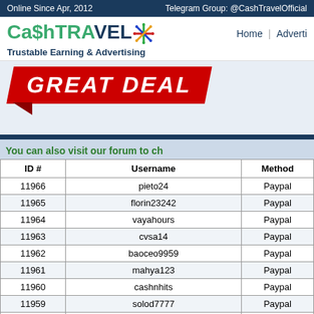Online Since Apr, 2012    Telegram Group: @CashTravelOfficial
[Figure (logo): CashTravel logo with colorful snowflake and tagline 'Trustable Earning & Advertising']
[Figure (infographic): Red 'GREAT DEAL' banner with diagonal italic text on red background with fold]
You can also visit our forum to ch
| ID # | Username | Method |
| --- | --- | --- |
| 11966 | pieto24 | Paypal |
| 11965 | florin23242 | Paypal |
| 11964 | vayahours | Paypal |
| 11963 | cvsa14 | Paypal |
| 11962 | baoceo9959 | Paypal |
| 11961 | mahya123 | Paypal |
| 11960 | cashnhits | Paypal |
| 11959 | solod7777 | Paypal |
| 11958 | wonderland | Paypal |
| 11957 | gladiatorr | Paypal |